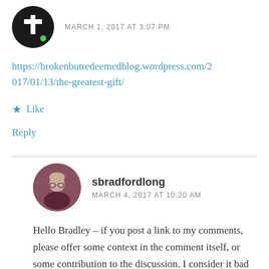[Figure (photo): Circular avatar with dark background showing a cross/plus icon and green dot]
MARCH 1, 2017 AT 3:07 PM
https://brokenbutredeemedblog.wordpress.com/2017/01/13/the-greatest-gift/
★ Like
Reply
[Figure (photo): Circular avatar photo of a person with glasses and dark hair wearing a purple/dark shirt]
sbradfordlong
MARCH 4, 2017 AT 10:20 AM
Hello Bradley – if you post a link to my comments, please offer some context in the comment itself, or some contribution to the discussion. I consider it bad etiquette to only